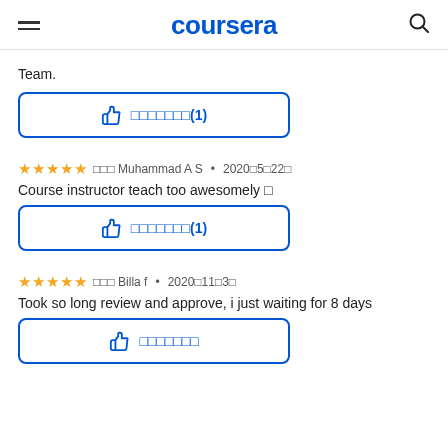coursera
Team.
[Figure (other): Like/helpful button with thumbs up icon and encoded text (1)]
★★★★★ ��� Muhammad A S • 2020年5月22日
Course instructor teach too awesomely 🙂
[Figure (other): Like/helpful button with thumbs up icon and encoded text (1)]
★★★★★ ��� Billa f • 2020年11月3日
Took so long review and approve, i just waiting for 8 days
[Figure (other): Like/helpful button with thumbs up icon and encoded text]